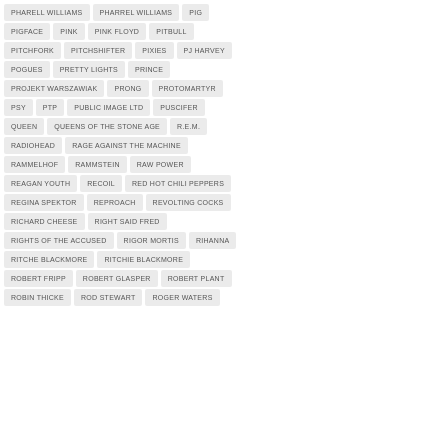PHARELL WILLIAMS
PHARREL WILLIAMS
PIG
PIGFACE
PINK
PINK FLOYD
PITBULL
PITCHFORK
PITCHSHIFTER
PIXIES
PJ HARVEY
POGUES
PRETTY LIGHTS
PRINCE
PROJEKT WARSZAWIAK
PRONG
PROTOMARTYR
PSY
PTP
PUBLIC IMAGE LTD
PUSCIFER
QUEEN
QUEENS OF THE STONE AGE
R.E.M.
RADIOHEAD
RAGE AGAINST THE MACHINE
RAMMELHOF
RAMMSTEIN
RAW POWER
REAGAN YOUTH
RECOIL
RED HOT CHILI PEPPERS
REGINA SPEKTOR
REPROACH
REVOLTING COCKS
RICHARD CHEESE
RIGHT SAID FRED
RIGHTS OF THE ACCUSED
RIGOR MORTIS
RIHANNA
RITCHE BLACKMORE
RITCHIE BLACKMORE
ROBERT FRIPP
ROBERT GLASPER
ROBERT PLANT
ROBIN THICKE
ROD STEWART
ROGER WATERS